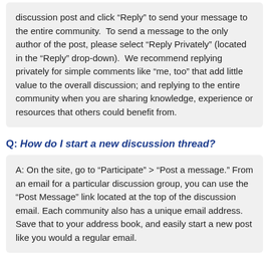discussion post and click "Reply" to send your message to the entire community.  To send a message to the only author of the post, please select "Reply Privately" (located in the "Reply" drop-down).  We recommend replying privately for simple comments like "me, too" that add little value to the overall discussion; and replying to the entire community when you are sharing knowledge, experience or resources that others could benefit from.
Q: How do I start a new discussion thread?
A: On the site, go to "Participate" > "Post a message." From an email for a particular discussion group, you can use the "Post Message" link located at the top of the discussion email. Each community also has a unique email address. Save that to your address book, and easily start a new post like you would a regular email.